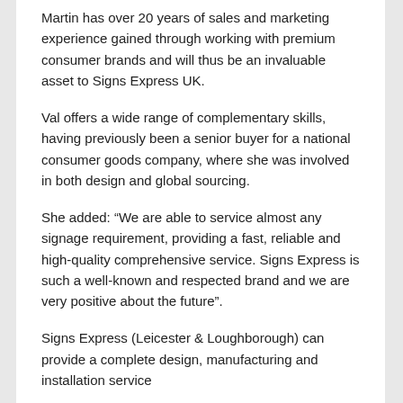Martin has over 20 years of sales and marketing experience gained through working with premium consumer brands and will thus be an invaluable asset to Signs Express UK.
Val offers a wide range of complementary skills, having previously been a senior buyer for a national consumer goods company, where she was involved in both design and global sourcing.
She added: “We are able to service almost any signage requirement, providing a fast, reliable and high-quality comprehensive service. Signs Express is such a well-known and respected brand and we are very positive about the future”.
Signs Express (Leicester & Loughborough) can provide a complete design, manufacturing and installation service